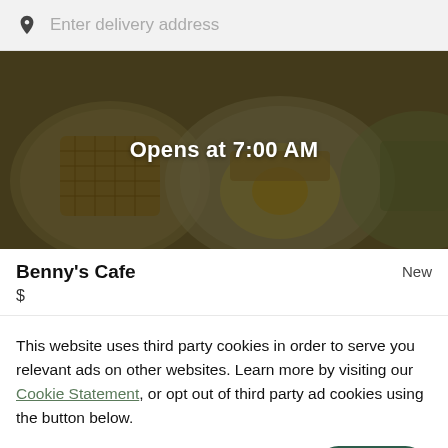Enter delivery address
[Figure (photo): Hero image of breakfast food plates (waffles, eggs, hash browns) with dark overlay and text 'Opens at 7:00 AM']
Benny's Cafe
New
$
This website uses third party cookies in order to serve you relevant ads on other websites. Learn more by visiting our Cookie Statement, or opt out of third party ad cookies using the button below.
OPT OUT
GOT IT